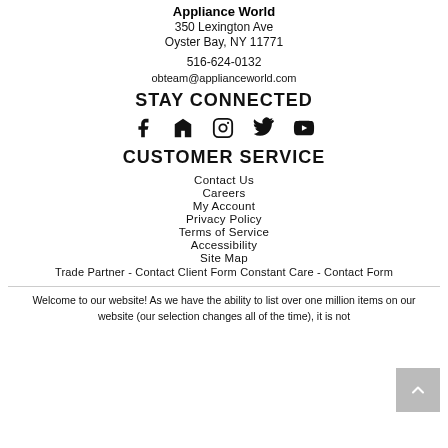Appliance World
350 Lexington Ave
Oyster Bay, NY 11771
516-624-0132
obteam@applianceworld.com
STAY CONNECTED
[Figure (infographic): Social media icons: Facebook, Houzz, Instagram, Twitter, YouTube]
CUSTOMER SERVICE
Contact Us
Careers
My Account
Privacy Policy
Terms of Service
Accessibility
Site Map
Trade Partner - Contact Client Form Constant Care - Contact Form
Welcome to our website! As we have the ability to list over one million items on our website (our selection changes all of the time), it is not